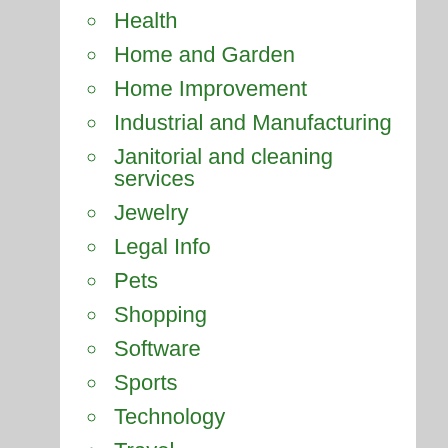Health
Home and Garden
Home Improvement
Industrial and Manufacturing
Janitorial and cleaning services
Jewelry
Legal Info
Pets
Shopping
Software
Sports
Technology
Travel
Web Development & Hosting
Weddings